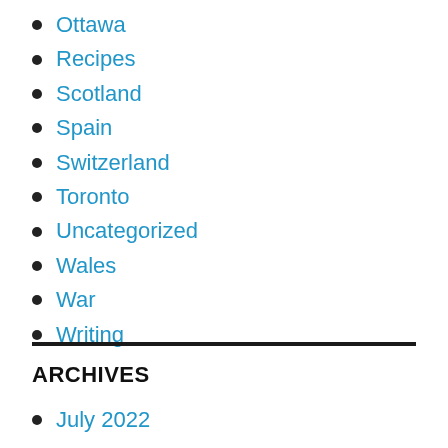Ottawa
Recipes
Scotland
Spain
Switzerland
Toronto
Uncategorized
Wales
War
Writing
ARCHIVES
July 2022